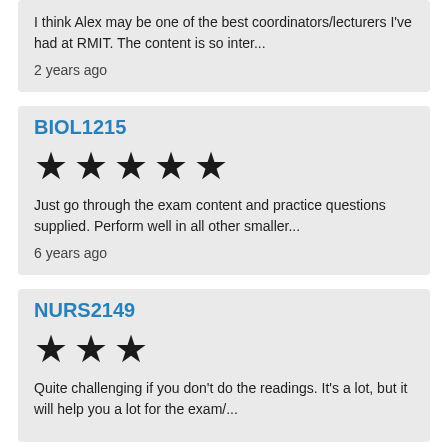I think Alex may be one of the best coordinators/lecturers I've had at RMIT. The content is so inter...
2 years ago
BIOL1215
[Figure (other): 5 filled star rating icons]
Just go through the exam content and practice questions supplied. Perform well in all other smaller...
6 years ago
NURS2149
[Figure (other): 3 filled star rating icons]
Quite challenging if you don't do the readings. It's a lot, but it will help you a lot for the exam/...